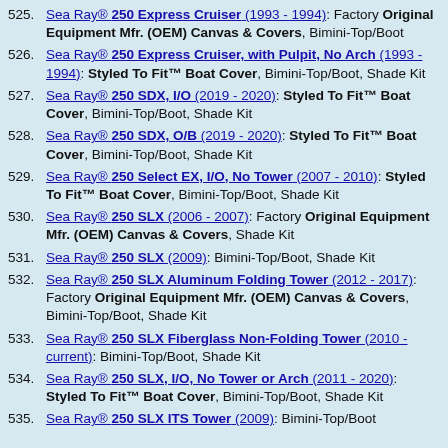525. Sea Ray® 250 Express Cruiser (1993 - 1994): Factory Original Equipment Mfr. (OEM) Canvas & Covers, Bimini-Top/Boot
526. Sea Ray® 250 Express Cruiser, with Pulpit, No Arch (1993 - 1994): Styled To Fit™ Boat Cover, Bimini-Top/Boot, Shade Kit
527. Sea Ray® 250 SDX, I/O (2019 - 2020): Styled To Fit™ Boat Cover, Bimini-Top/Boot, Shade Kit
528. Sea Ray® 250 SDX, O/B (2019 - 2020): Styled To Fit™ Boat Cover, Bimini-Top/Boot, Shade Kit
529. Sea Ray® 250 Select EX, I/O, No Tower (2007 - 2010): Styled To Fit™ Boat Cover, Bimini-Top/Boot, Shade Kit
530. Sea Ray® 250 SLX (2006 - 2007): Factory Original Equipment Mfr. (OEM) Canvas & Covers, Shade Kit
531. Sea Ray® 250 SLX (2009): Bimini-Top/Boot, Shade Kit
532. Sea Ray® 250 SLX Aluminum Folding Tower (2012 - 2017): Factory Original Equipment Mfr. (OEM) Canvas & Covers, Bimini-Top/Boot, Shade Kit
533. Sea Ray® 250 SLX Fiberglass Non-Folding Tower (2010 - current): Bimini-Top/Boot, Shade Kit
534. Sea Ray® 250 SLX, I/O, No Tower or Arch (2011 - 2020): Styled To Fit™ Boat Cover, Bimini-Top/Boot, Shade Kit
535. Sea Ray® 250 SLX ITS Tower (2009): Bimini-Top/Boot